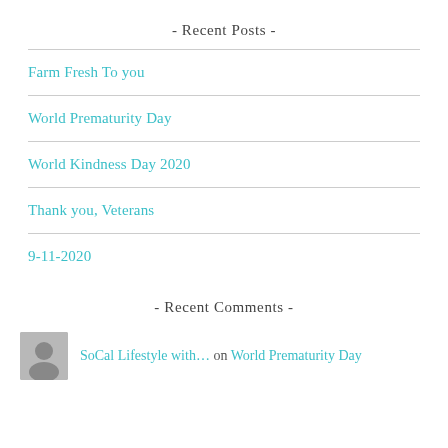- Recent Posts -
Farm Fresh To you
World Prematurity Day
World Kindness Day 2020
Thank you, Veterans
9-11-2020
- Recent Comments -
SoCal Lifestyle with… on World Prematurity Day